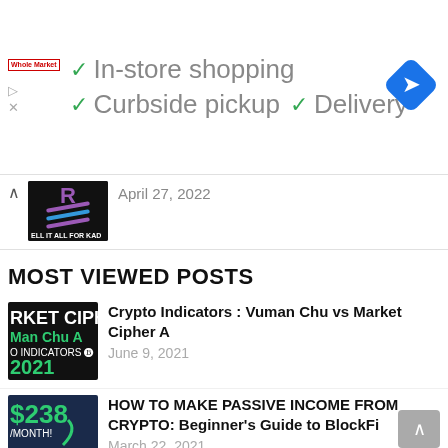[Figure (screenshot): Ad banner showing Whole Market logo with checkmarks for In-store shopping, Curbside pickup, Delivery, and a blue navigation arrow icon]
April 27, 2022
MOST VIEWED POSTS
[Figure (screenshot): Thumbnail image for Crypto Indicators post showing Market Cipher A text on dark background]
Crypto Indicators : Vuman Chu vs Market Cipher A
June 9, 2021
[Figure (screenshot): Thumbnail image for BlockFi passive income post showing $238/month text]
HOW TO MAKE PASSIVE INCOME FROM CRYPTO: Beginner's Guide to BlockFi
March 22, 2021
[Figure (screenshot): Thumbnail image for Top 10 Countries post showing Places Bank text]
Top 10 Countries To BANK Crypto Gains!! 🌍
May 19, 2021